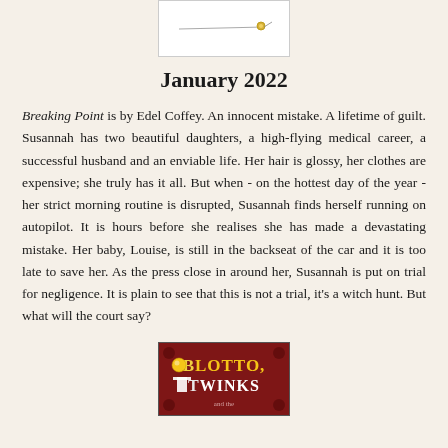[Figure (photo): Small product image showing a pin or needle on white background]
January 2022
Breaking Point is by Edel Coffey. An innocent mistake. A lifetime of guilt. Susannah has two beautiful daughters, a high-flying medical career, a successful husband and an enviable life. Her hair is glossy, her clothes are expensive; she truly has it all. But when - on the hottest day of the year - her strict morning routine is disrupted, Susannah finds herself running on autopilot. It is hours before she realises she has made a devastating mistake. Her baby, Louise, is still in the backseat of the car and it is too late to save her. As the press close in around her, Susannah is put on trial for negligence. It is plain to see that this is not a trial, it's a witch hunt. But what will the court say?
[Figure (photo): Book cover image for 'Blotto, Twinks' with red ornate background and yellow/white text]